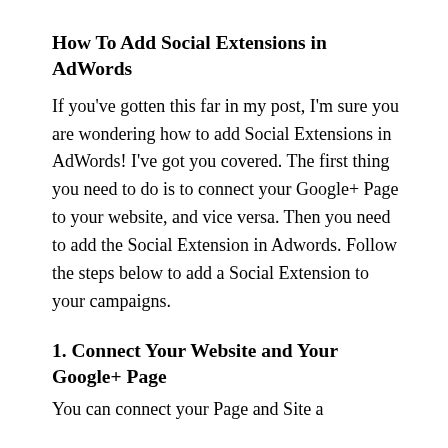How To Add Social Extensions in AdWords
If you've gotten this far in my post, I'm sure you are wondering how to add Social Extensions in AdWords! I've got you covered. The first thing you need to do is to connect your Google+ Page to your website, and vice versa. Then you need to add the Social Extension in Adwords. Follow the steps below to add a Social Extension to your campaigns.
1. Connect Your Website and Your Google+ Page
You can connect your Page and Site a